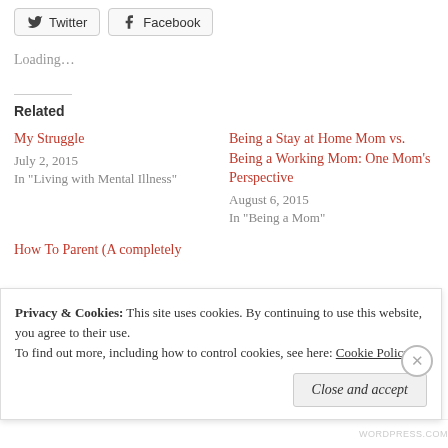[Figure (other): Share buttons for Twitter and Facebook]
Loading…
Related
My Struggle
July 2, 2015
In "Living with Mental Illness"
Being a Stay at Home Mom vs. Being a Working Mom: One Mom's Perspective
August 6, 2015
In "Being a Mom"
How To Parent (A completely
Privacy & Cookies:  This site uses cookies. By continuing to use this website, you agree to their use.
To find out more, including how to control cookies, see here: Cookie Policy
Close and accept